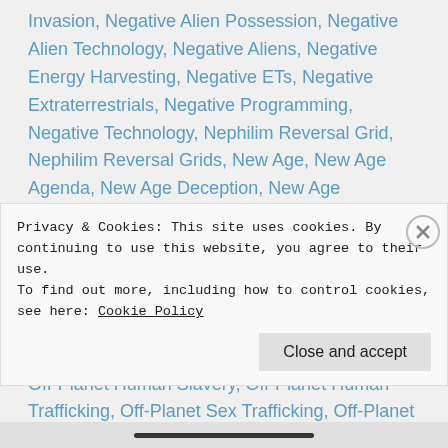Invasion, Negative Alien Possession, Negative Alien Technology, Negative Aliens, Negative Energy Harvesting, Negative ETs, Negative Extraterrestrials, Negative Programming, Negative Technology, Nephilim Reversal Grid, Nephilim Reversal Grids, New Age, New Age Agenda, New Age Deception, New Age Disinformation, New Age Traps, New Earth Timelines, New Timelines, Next Harmonic Universe, Next Universe, Nibiru, Nibiruan, Nibiruan Annunaki Alien Invasion, Nibiruan Annunaki Aliens, Non-Human, Non-Human Controllers, Non-Humans, Off-Planet Controllers, Off-Planet Human Slavery, Off-Planet Human Trafficking, Off-Planet Sex Trafficking, Off-Planet Sexual Slavery, Organ Harvesting
Privacy & Cookies: This site uses cookies. By continuing to use this website, you agree to their use.
To find out more, including how to control cookies, see here: Cookie Policy
Close and accept